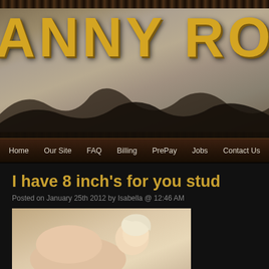[Figure (illustration): Website header banner with stone/rock texture background, large distressed western-style yellow text reading 'ANNY ROUND' (partial, cut off on left), with a dark silhouette shape at the bottom]
Home | Our Site | FAQ | Billing | PrePay | Jobs | Contact Us
I have 8 inch's for you stud
Posted on January 25th 2012 by Isabella @ 12:46 AM
[Figure (photo): Partial photo of a blonde person in a suggestive pose]